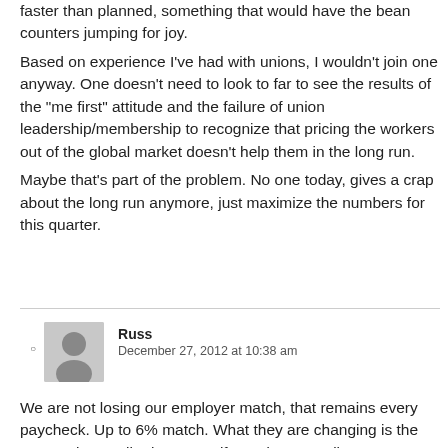faster than planned, something that would have the bean counters jumping for joy.
Based on experience I've had with unions, I wouldn't join one anyway. One doesn't need to look to far to see the results of the "me first" attitude and the failure of union leadership/membership to recognize that pricing the workers out of the global market doesn't help them in the long run.
Maybe that's part of the problem. No one today, gives a crap about the long run anymore, just maximize the numbers for this quarter.
Russ  December 27, 2012 at 10:38 am
We are not losing our employer match, that remains every paycheck. Up to 6% match. What they are changing is the automatic contribution. Even if you don't contribute at ALL to your own 401K, then IBM still puts 2% in.
That is moving to lump sum on DEC 15th.
Is it still crappy?